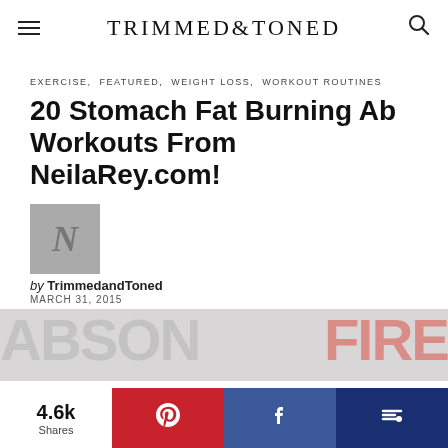TRIMMED&TONED
EXERCISE, FEATURED, WEIGHT LOSS, WORKOUT ROUTINES
20 Stomach Fat Burning Ab Workouts From NeilaRey.com!
by TrimmedandToned
MARCH 31, 2015
[Figure (photo): Featured article image showing text ABSON FIRE blurred background]
4.6k Shares